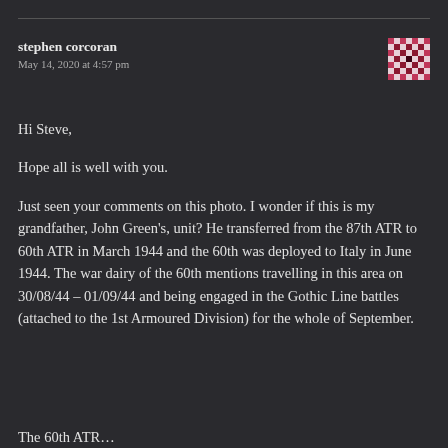stephen corcoran
May 14, 2020 at 4:57 pm
[Figure (illustration): User avatar: a small checkerboard-style avatar image in red and white pixelated pattern]
Hi Steve,
Hope all is well with you.
Just seen your comments on this photo. I wonder if this is my grandfather, John Green's, unit? He transferred from the 87th ATR to 60th ATR in March 1944 and the 60th was deployed to Italy in June 1944. The war dairy of the 60th mentions travelling in this area on 30/08/44 – 01/09/44 and being engaged in the Gothic Line battles (attached to the 1st Armoured Division) for the whole of September.
The 60th ATR…